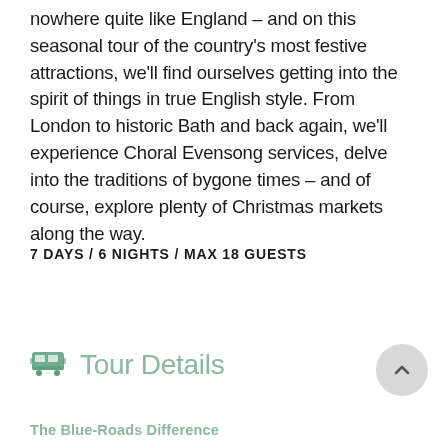nowhere quite like England – and on this seasonal tour of the country's most festive attractions, we'll find ourselves getting into the spirit of things in true English style. From London to historic Bath and back again, we'll experience Choral Evensong services, delve into the traditions of bygone times – and of course, explore plenty of Christmas markets along the way.
7 DAYS / 6 NIGHTS / MAX 18 GUESTS
Tour Details
The Blue-Roads Difference